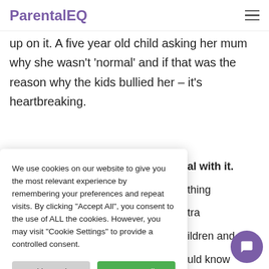ParentalEQ
up on it. A five year old child asking her mum why she wasn't 'normal' and if that was the reason why the kids bullied her – it's heartbreaking.
We use cookies on our website to give you the most relevant experience by remembering your preferences and repeat visits. By clicking "Accept All", you consent to the use of ALL the cookies. However, you may visit "Cookie Settings" to provide a controlled consent.
al with it. thing tra ildren and uld know y second and